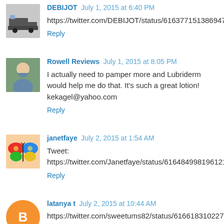DEBIJOT July 1, 2015 at 6:40 PM
https://twitter.com/DEBIJOT/status/616377151386947584
Reply
Rowell Reviews July 1, 2015 at 8:05 PM
I actually need to pamper more and Lubriderm would help me do that. It's such a great lotion! kekagel@yahoo.com
Reply
janetfaye July 2, 2015 at 1:54 AM
Tweet: https://twitter.com/Janetfaye/status/616484998196121600
Reply
latanya t July 2, 2015 at 10:44 AM
https://twitter.com/sweetums82/status/616618310227095552